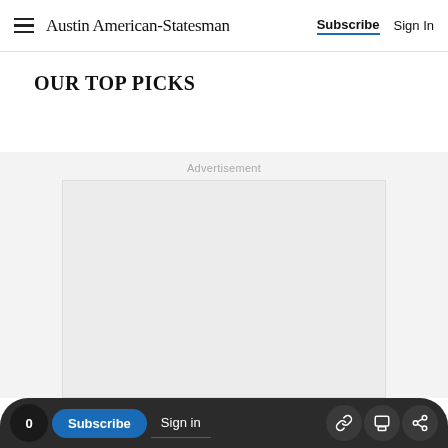Austin American-Statesman — Subscribe | Sign In
OUR TOP PICKS
Advertisement
[Figure (other): Empty advertisement placeholder box with light gray background]
0 | Subscribe | Sign in